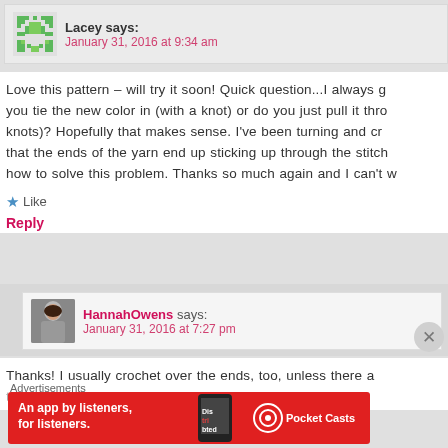Lacey says: January 31, 2016 at 9:34 am
Love this pattern – will try it soon! Quick question...I always g you tie the new color in (with a knot) or do you just pull it thro knots)? Hopefully that makes sense. I've been turning and cr that the ends of the yarn end up sticking up through the stitch how to solve this problem. Thanks so much again and I can't w
Like
Reply
HannahOwens says: January 31, 2016 at 7:27 pm
Thanks! I usually crochet over the ends, too, unless there a
[Figure (screenshot): Advertisement banner: Pocket Casts app ad with red background, text 'An app by listeners, for listeners.' with phone image and Pocket Casts logo]
Advertisements